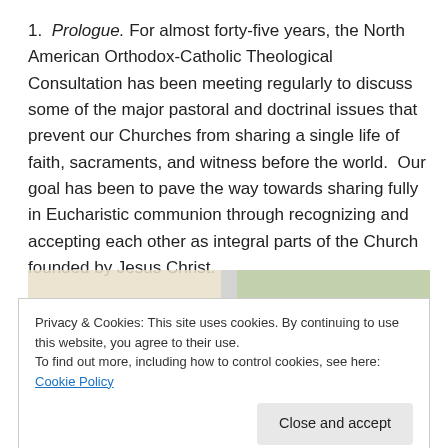1. Prologue. For almost forty-five years, the North American Orthodox-Catholic Theological Consultation has been meeting regularly to discuss some of the major pastoral and doctrinal issues that prevent our Churches from sharing a single life of faith, sacraments, and witness before the world.  Our goal has been to pave the way towards sharing fully in Eucharistic communion through recognizing and accepting each other as integral parts of the Church founded by Jesus Christ.
[Figure (photo): Partial image strip visible behind cookie banner]
Privacy & Cookies: This site uses cookies. By continuing to use this website, you agree to their use.
To find out more, including how to control cookies, see here: Cookie Policy
Close and accept